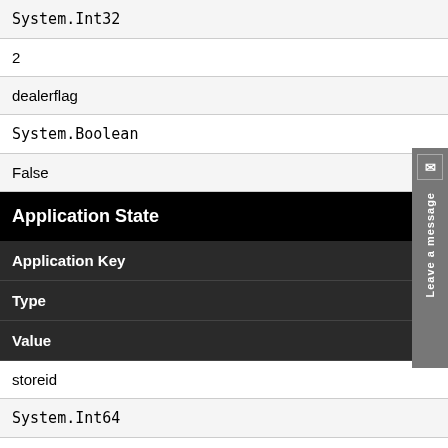| System.Int32 |
| 2 |
| dealerflag |
| System.Boolean |
| False |
Application State
| Application Key | Type | Value |
| --- | --- | --- |
| storeid | System.Int64 | 1 |
| storename | System.String | Westendorf Parts Store |